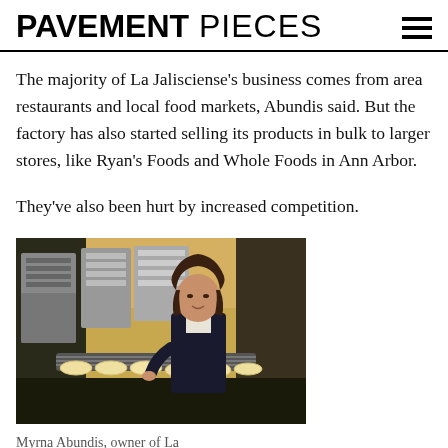PAVEMENT PIECES
The majority of La Jalisciense's business comes from area restaurants and local food markets, Abundis said. But the factory has also started selling its products in bulk to larger stores, like Ryan's Foods and Whole Foods in Ann Arbor.
They've also been hurt by increased competition.
[Figure (photo): Woman standing in a tortilla factory next to industrial machines and conveyor belts with tortillas, wearing a dark blazer]
Myrna Abundis, owner of La